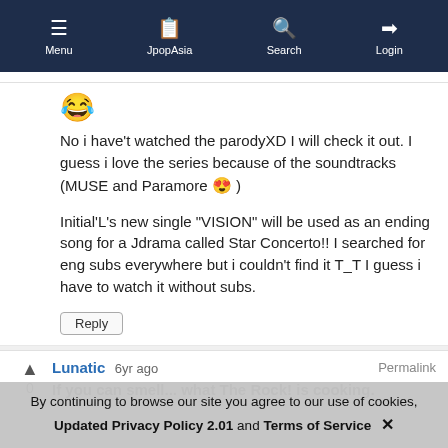Menu | JpopAsia | Search | Login
[Figure (other): Laughing emoji 😂]
No i have't watched the parodyXD I will check it out. I guess i love the series because of the soundtracks (MUSE and Paramore 😍 )
Initial'L's new single "VISION" will be used as an ending song for a Jdrama called Star Concerto!! I searched for eng subs everywhere but i couldn't find it T_T I guess i have to watch it without subs.
Reply
Lunatic 6yr ago  Permalink
If you can smell... what The Rock! is cooking.
By continuing to browse our site you agree to our use of cookies, Updated Privacy Policy 2.01 and Terms of Service ✕